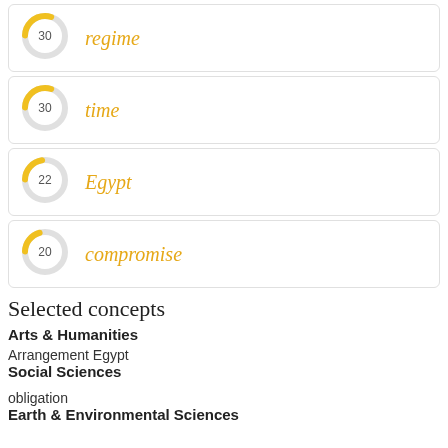[Figure (donut-chart): regime]
[Figure (donut-chart): time]
[Figure (donut-chart): Egypt]
[Figure (donut-chart): compromise]
Selected concepts
Arts & Humanities
Arrangement Egypt
Social Sciences
obligation
Earth & Environmental Sciences